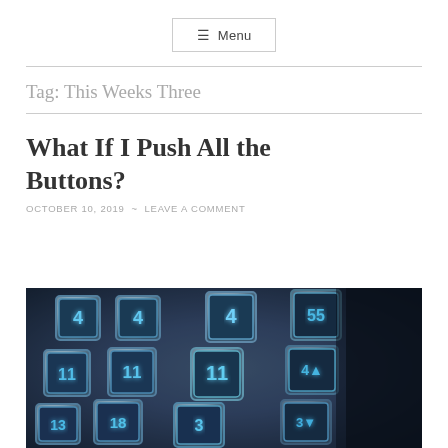☰ Menu
Tag: This Weeks Three
What If I Push All the Buttons?
OCTOBER 10, 2019  ~  LEAVE A COMMENT
[Figure (photo): Close-up photograph of illuminated elevator buttons with blue glowing numbers on metallic silver square buttons against a dark background]